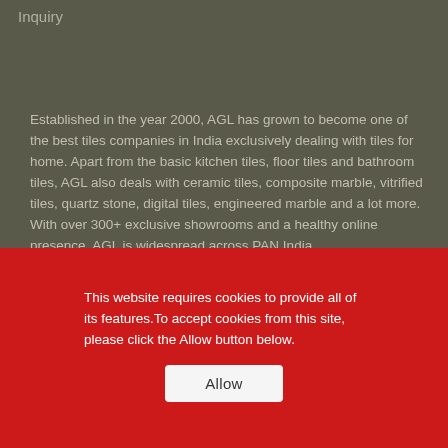Inquiry
Established in the year 2000, AGL has grown to become one of the best tiles companies in India exclusively dealing with tiles for home. Apart from the basic kitchen tiles, floor tiles and bathroom tiles, AGL also deals with ceramic tiles, composite marble, vitrified tiles, quartz stone, digital tiles, engineered marble and a lot more. With over 300+ exclusive showrooms and a healthy online presence, AGL is widespread across PAN India.
Sanitary Ware : Water Closet | Basin | EWC & Orissa Pan | Cistern | Urinal | Bathroom Furniture | Seat Cover | Allied Products
Faucet : Nero | Denver | Denver Gold | Denver Rose Gold | Flavia | More
This website requires cookies to provide all of its features. To accept cookies from this site, please click the Allow button below.